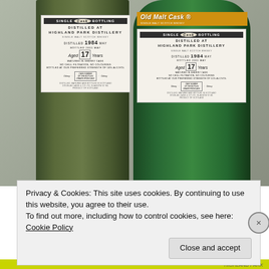[Figure (photo): Two Highland Park Distillery 17 Year Old single malt Scotch whisky bottles side by side. Left bottle: Old Malt Cask series, square dark green bottle. Right bottle: Old Malt Cask series, round dark green bottle with gold 'Old Malt Cask' header. Both distilled 1984 May, bottled 2001 May, aged 17 years, matured in sherry cask, Douglas Laing & Co Ltd, Glasgow.]
Privacy & Cookies: This site uses cookies. By continuing to use this website, you agree to their use.
To find out more, including how to control cookies, see here: Cookie Policy